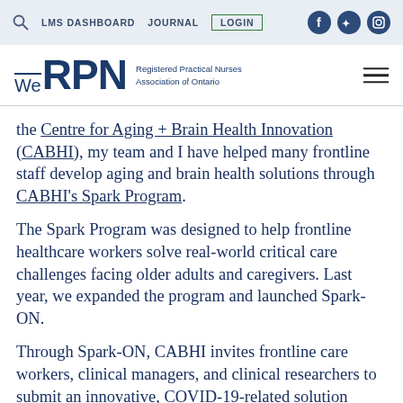LMS DASHBOARD   JOURNAL   LOGIN
[Figure (logo): We RPN - Registered Practical Nurses Association of Ontario logo with hamburger menu]
the Centre for Aging + Brain Health Innovation (CABHI), my team and I have helped many frontline staff develop aging and brain health solutions through CABHI's Spark Program.
The Spark Program was designed to help frontline healthcare workers solve real-world critical care challenges facing older adults and caregivers. Last year, we expanded the program and launched Spark-ON.
Through Spark-ON, CABHI invites frontline care workers, clinical managers, and clinical researchers to submit an innovative, COVID-19-related solution aimed at improving the lives of